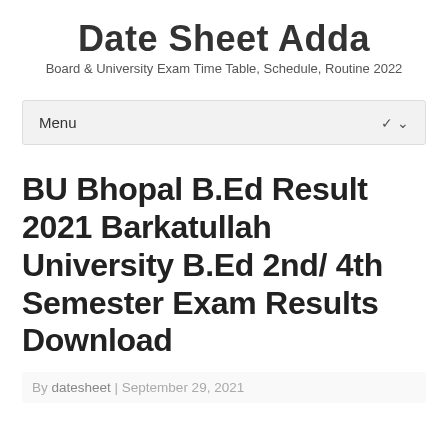Date Sheet Adda
Board & University Exam Time Table, Schedule, Routine 2022
Menu
BU Bhopal B.Ed Result 2021 Barkatullah University B.Ed 2nd/ 4th Semester Exam Results Download
By datesheet | September 29, 2021